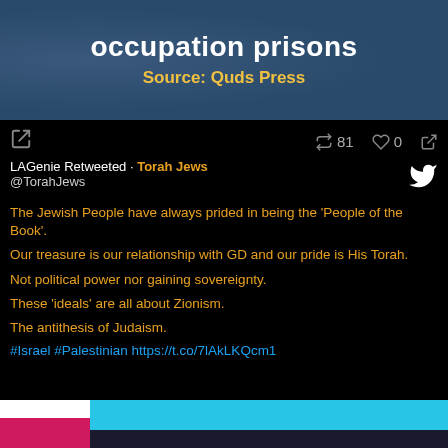occupation prisons
Source: Quds Press
LAGenie Retweeted · Torah Jews
@TorahJews

The Jewish People have always prided in being the 'People of the Book'.

Our treasure is our relationship with GD and our pride is His Torah.

Not political power nor gaining sovereignty.

These 'ideals' are all about Zionism.

The antithesis of Judaism.

#Israel #Palestinian https://t.co/7lAkLKQcm1
[Figure (screenshot): Bottom portion of an infographic with cyan and dark navy colored bars, with a pink/magenta accent on the left side]